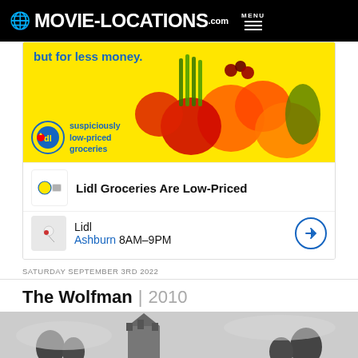MOVIE-LOCATIONS.com MENU
[Figure (photo): Lidl grocery advertisement banner showing fruits and vegetables on yellow background with text 'but for less money' and Lidl logo with tagline 'suspiciously low-priced groceries']
Lidl Groceries Are Low-Priced
Lidl
Ashburn 8AM–9PM
SATURDAY SEPTEMBER 3RD 2022
The Wolfman | 2010
[Figure (photo): Black and white or desaturated photo of a stone tower or turret structure with trees in background and overcast sky]